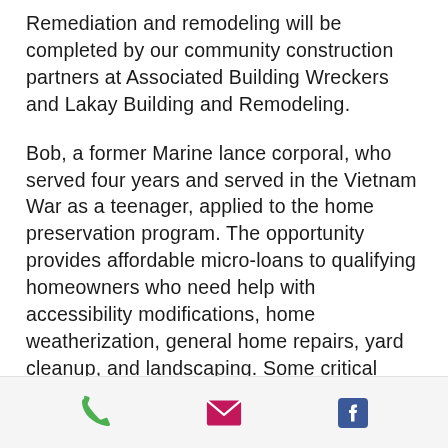Remediation and remodeling will be completed by our community construction partners at Associated Building Wreckers and Lakay Building and Remodeling.
Bob, a former Marine lance corporal, who served four years and served in the Vietnam War as a teenager, applied to the home preservation program. The opportunity provides affordable micro-loans to qualifying homeowners who need help with accessibility modifications, home weatherization, general home repairs, yard cleanup, and landscaping. Some critical repair work and larger loans are available on a
[Figure (infographic): Mobile app footer navigation bar with three icons: a green phone icon, a pink/magenta email envelope icon, and a blue Facebook icon]